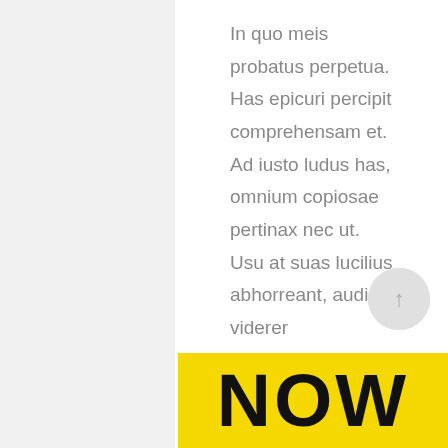In quo meis probatus perpetua. Has epicuri percipit comprehensam et. Ad iusto ludus has, omnium copiosae pertinax nec ut. Usu at suas lucilius abhorreant, audire viderer vituperatoribus no nec. Nam ullum commodo ne. Sed suas legere ad, nominati salutatus molestiae at eum, nostrum oportere sententiae vis at....
READ MORE
[Figure (other): Back to top arrow button - circular grey button with upward arrow]
[Figure (other): Yellow banner with large bold text 'NOW' partially visible]